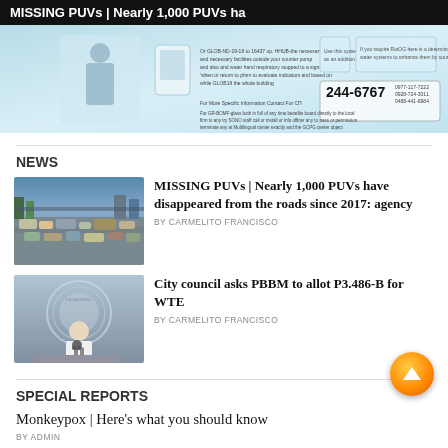MISSING PUVs | Nearly 1,000 PUVs ha
[Figure (infographic): Advertisement banner with hotline number 244-6767]
NEWS
[Figure (photo): Aerial view of traffic congestion on a road]
MISSING PUVs | Nearly 1,000 PUVs have disappeared from the roads since 2017: agency
BY CARMELITO FRANCISCO
[Figure (photo): Official speaking at a podium with Philippine seal in background]
City council asks PBBM to allot P3.486-B for WTE
BY CARMELITO FRANCISCO
SPECIAL REPORTS
Monkeypox | Here's what you should know
BY ADMIN